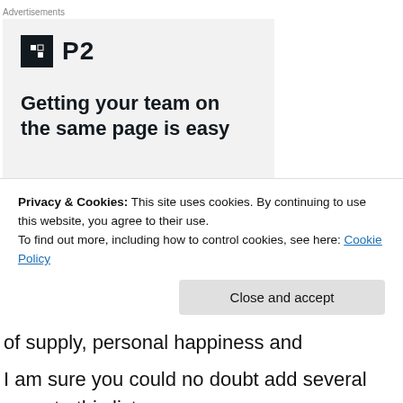Advertisements
[Figure (other): Advertisement banner for P2 showing logo and text 'Getting your team on the same page is easy']
So right now and throughout our lifetime, the reasons to live sustainably are good ones. Climate change, energy costs and problems of supply, personal happiness and
Privacy & Cookies: This site uses cookies. By continuing to use this website, you agree to their use.
To find out more, including how to control cookies, see here: Cookie Policy
I am sure you could no doubt add several more to this list.